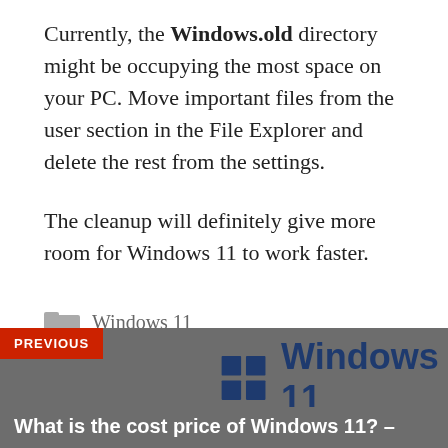Currently, the Windows.old directory might be occupying the most space on your PC. Move important files from the user section in the File Explorer and delete the rest from the settings.
The cleanup will definitely give more room for Windows 11 to work faster.
Windows 11
[Figure (logo): Windows 11 logo with four-pane Windows icon and 'Windows 11' text in dark blue, shown in a gray navigation bar with a red 'PREVIOUS' label]
What is the cost price of Windows 11? –